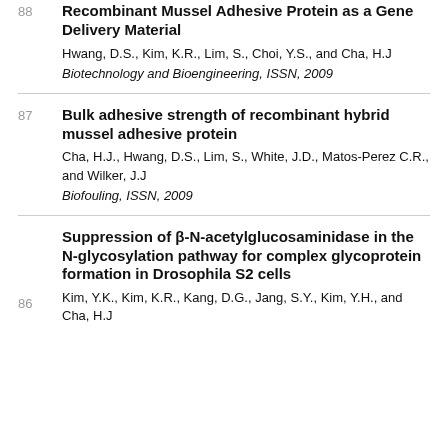Recombinant Mussel Adhesive Protein as a Gene Delivery Material
88   Hwang, D.S., Kim, K.R., Lim, S., Choi, Y.S., and Cha, H.J
Biotechnology and Bioengineering, ISSN, 2009
Bulk adhesive strength of recombinant hybrid mussel adhesive protein
87   Cha, H.J., Hwang, D.S., Lim, S., White, J.D., Matos-Perez C.R., and Wilker, J.J
Biofouling, ISSN, 2009
Suppression of β-N-acetylglucosaminidase in the N-glycosylation pathway for complex glycoprotein formation in Drosophila S2 cells
86   Kim, Y.K., Kim, K.R., Kang, D.G., Jang, S.Y., Kim, Y.H., and Cha, H.J